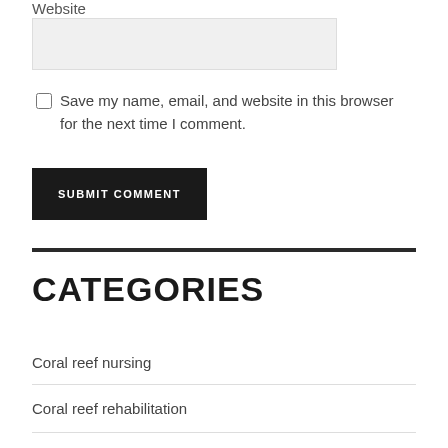Website
Save my name, email, and website in this browser for the next time I comment.
SUBMIT COMMENT
CATEGORIES
Coral reef nursing
Coral reef rehabilitation